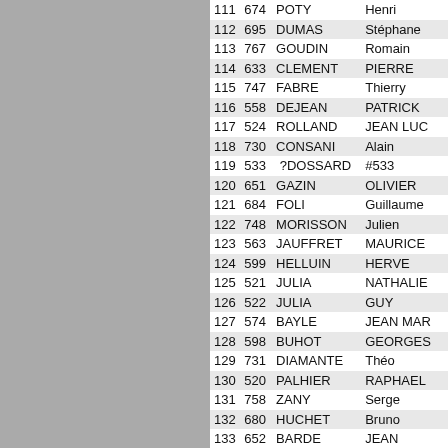|  |  | Last Name | First Name |
| --- | --- | --- | --- |
| 111 | 674 | POTY | Henri |
| 112 | 695 | DUMAS | Stéphane |
| 113 | 767 | GOUDIN | Romain |
| 114 | 633 | CLEMENT | PIERRE |
| 115 | 747 | FABRE | Thierry |
| 116 | 558 | DEJEAN | PATRICK |
| 117 | 524 | ROLLAND | JEAN LUC |
| 118 | 730 | CONSANI | Alain |
| 119 | 533 | ?DOSSARD | #533 |
| 120 | 651 | GAZIN | OLIVIER |
| 121 | 684 | FOLI | Guillaume |
| 122 | 748 | MORISSON | Julien |
| 123 | 563 | JAUFFRET | MAURICE |
| 124 | 599 | HELLUIN | HERVE |
| 125 | 521 | JULIA | NATHALIE |
| 126 | 522 | JULIA | GUY |
| 127 | 574 | BAYLE | JEAN MAR |
| 128 | 598 | BUHOT | GEORGES |
| 129 | 731 | DIAMANTE | Théo |
| 130 | 520 | PALHIER | RAPHAEL |
| 131 | 758 | ZANY | Serge |
| 132 | 680 | HUCHET | Bruno |
| 133 | 652 | BARDE | JEAN |
| 134 | 513 | CAUSSEL | LOUIS |
| 135 | 509 | GOUBET | GILLES |